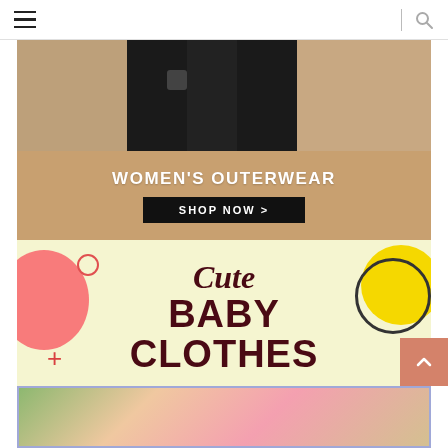Navigation header with hamburger menu and search icon
[Figure (photo): Women's outerwear banner showing dark jeans photo with tan background, 'WOMEN'S OUTERWEAR' title and 'SHOP NOW >' button]
[Figure (illustration): Cute Baby Clothes banner with light yellow background, decorative pink and yellow blobs, bold dark maroon text reading 'Cute BABY CLOTHES']
[Figure (photo): Baby clothes flat lay photo showing a pink onesie with flowers and accessories on a light background with blue border]